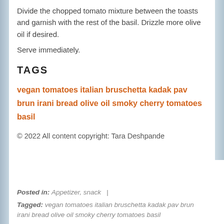Divide the chopped tomato mixture between the toasts and garnish with the rest of the basil. Drizzle more olive oil if desired.
Serve immediately.
TAGS
vegan tomatoes italian bruschetta kadak pav brun irani bread olive oil smoky cherry tomatoes basil
© 2022 All content copyright: Tara Deshpande
Posted in: Appetizer, snack  |
Tagged: vegan tomatoes italian bruschetta kadak pav brun irani bread olive oil smoky cherry tomatoes basil